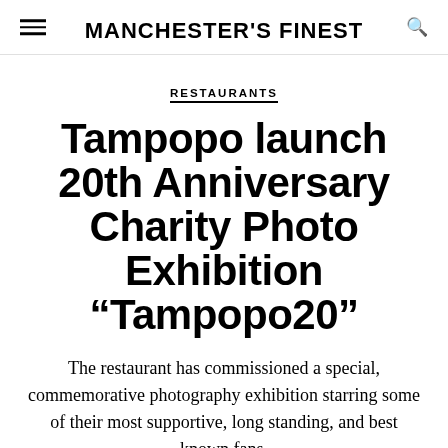MANCHESTER'S FINEST
RESTAURANTS
Tampopo launch 20th Anniversary Charity Photo Exhibition “Tampopo20”
The restaurant has commissioned a special, commemorative photography exhibition starring some of their most supportive, long standing, and best known fans.